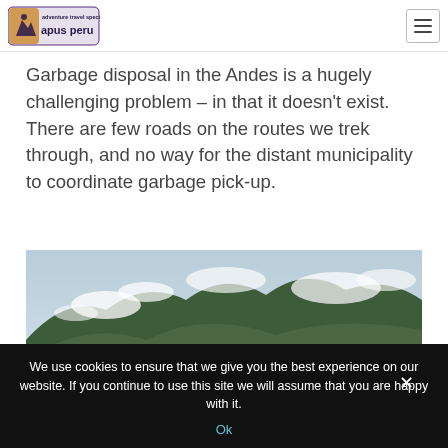apus peru — adventure travel specialists [logo + hamburger menu]
Garbage disposal in the Andes is a hugely challenging problem – in that it doesn't exist. There are few roads on the routes we trek through, and no way for the distant municipality to coordinate garbage pick-up.
[Figure (photo): Mountain landscape in the Andes with green slopes, clouds and mist over the peaks, taken during a trek through the mountains.]
We use cookies to ensure that we give you the best experience on our website. If you continue to use this site we will assume that you are happy with it.
Ok